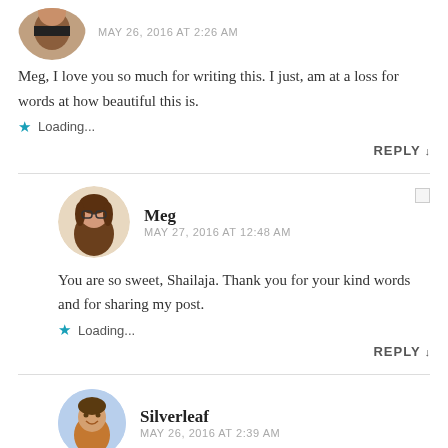[Figure (illustration): Circular avatar photo of a woman (top, partially cropped)]
MAY 26, 2016 AT 2:26 AM
Meg, I love you so much for writing this. I just, am at a loss for words at how beautiful this is.
Loading...
REPLY ↓
[Figure (illustration): Circular avatar illustration of Meg, a woman with brown hair and glasses]
Meg
MAY 27, 2016 AT 12:48 AM
You are so sweet, Shailaja. Thank you for your kind words and for sharing my post.
Loading...
REPLY ↓
[Figure (illustration): Circular avatar illustration of Silverleaf, a man with a smile]
Silverleaf
MAY 26, 2016 AT 2:39 AM
My dear, this is breathtaking and beautiful and a little bit sad, because